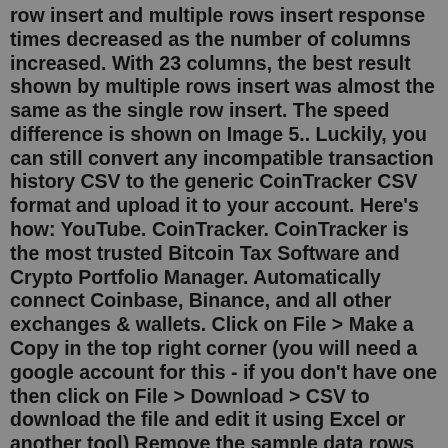row insert and multiple rows insert response times decreased as the number of columns increased. With 23 columns, the best result shown by multiple rows insert was almost the same as the single row insert. The speed difference is shown on Image 5.. Luckily, you can still convert any incompatible transaction history CSV to the generic CoinTracker CSV format and upload it to your account. Here's how: YouTube. CoinTracker. CoinTracker is the most trusted Bitcoin Tax Software and Crypto Portfolio Manager. Automatically connect Coinbase, Binance, and all other exchanges & wallets. Click on File > Make a Copy in the top right corner (you will need a google account for this - if you don't have one then click on File > Download > CSV to download the file and edit it using Excel or another tool) Remove the sample data rows once you understand how to enter your own data. When you have finished entering the data click on File ....Luckily, you can still convert any incompatible transaction history CSV to the generic CoinTracker CSV format and upload it to your